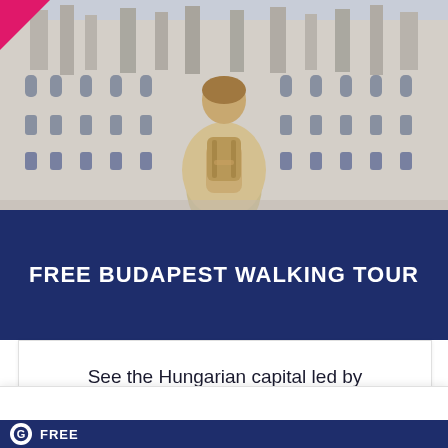[Figure (photo): Photo of a person with a backpack viewed from behind, standing in front of a large ornate gothic/neogothic building (Hungarian Parliament Building). A pink/magenta logo triangle is visible in the top-left corner.]
FREE BUDAPEST WALKING TOUR
See the Hungarian capital led by
This website uses cookies to help you have a better time here! Click accept to continue using the site, or visit 'read more' for more information
Read more
ACCEPT
FREE